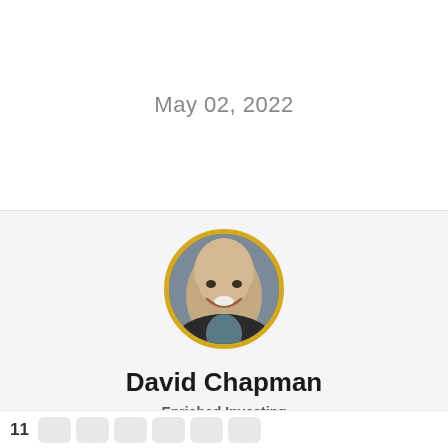May 02, 2022
[Figure (photo): Circular portrait photo of David Chapman with gold border, bald man smiling in dark jacket]
David Chapman
Enriched Investing